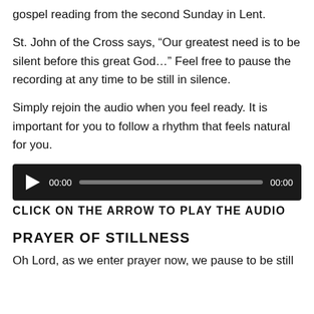gospel reading from the second Sunday in Lent.
St. John of the Cross says, “Our greatest need is to be silent before this great God…” Feel free to pause the recording at any time to be still in silence.
Simply rejoin the audio when you feel ready. It is important for you to follow a rhythm that feels natural for you.
[Figure (other): Audio player widget with play button, time display 00:00, progress bar, and end time 00:00 on dark background]
CLICK ON THE ARROW TO PLAY THE AUDIO
PRAYER OF STILLNESS
Oh Lord, as we enter prayer now, we pause to be still